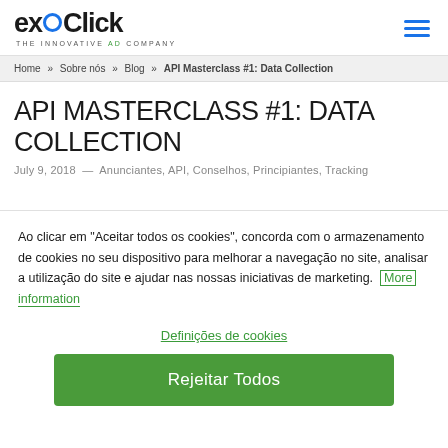[Figure (logo): ExoClick logo with tagline 'THE INNOVATIVE AD COMPANY']
Home » Sobre nós » Blog » API Masterclass #1: Data Collection
API MASTERCLASS #1: DATA COLLECTION
July 9, 2018 — Anunciantes, API, Conselhos, Principiantes, Tracking
Ao clicar em "Aceitar todos os cookies", concorda com o armazenamento de cookies no seu dispositivo para melhorar a navegação no site, analisar a utilização do site e ajudar nas nossas iniciativas de marketing. More information
Definições de cookies
Rejeitar Todos